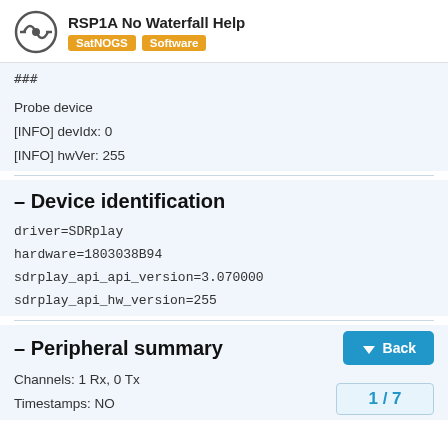RSP1A No Waterfall Help — SatNOGS | Software
###

Probe device
[INFO] devIdx: 0
[INFO] hwVer: 255
– Device identification
driver=SDRplay
hardware=1803038B94
sdrplay_api_api_version=3.070000
sdrplay_api_hw_version=255
– Peripheral summary
Channels: 1 Rx, 0 Tx
Timestamps: NO